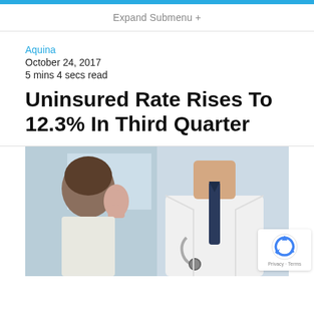Expand Submenu +
Aquina
October 24, 2017
5 mins 4 secs read
Uninsured Rate Rises To 12.3% In Third Quarter
[Figure (photo): A woman holding her hand up near her face on the left, and a male doctor in a white coat with a stethoscope and dark tie on the right, in a medical office setting.]